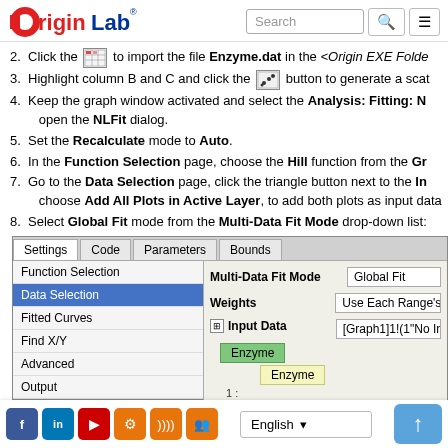OriginLab (logo) | Search | menu
2. Click the [icon] to import the file Enzyme.dat in the <Origin EXE Folde...
3. Highlight column B and C and click the [icon] button to generate a scat...
4. Keep the graph window activated and select the Analysis: Fitting: N... open the NLFit dialog.
5. Set the Recalculate mode to Auto.
6. In the Function Selection page, choose the Hill function from the Gr...
7. Go to the Data Selection page, click the triangle button next to the In... choose Add All Plots in Active Layer, to add both plots as input data...
8. Select Global Fit mode from the Multi-Data Fit Mode drop-down list:
[Figure (screenshot): NLFit dialog screenshot showing tabs: Settings, Code, Parameters, Bounds. Left panel lists: Function Selection, Data Selection (selected/highlighted blue), Fitted Curves, Find X/Y, Advanced, Output. Right panel shows: Multi-Data Fit Mode = Global Fit, Weights = Use Each Range's Se..., Input Data = [Graph1]1!(1"No Inhib... with Enzyme green row and Enzyme yellow row below, and a green bar at bottom.]
Facebook | LinkedIn | YouTube | settings | RSS | group icons | English (dropdown) | upload button